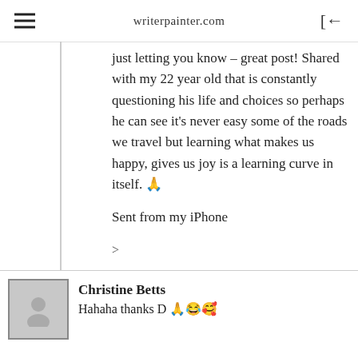writerpainter.com
just letting you know – great post! Shared with my 22 year old that is constantly questioning his life and choices so perhaps he can see it's never easy some of the roads we travel but learning what makes us happy, gives us joy is a learning curve in itself. 🙏
Sent from my iPhone
>
⭐ Liked by 1 person
Christine Betts
Hahaha thanks D 🙏😂🥰